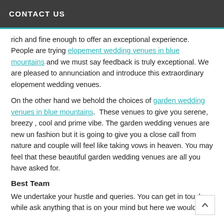CONTACT US
rich and fine enough to offer an exceptional experience. People are trying elopement wedding venues in blue mountains and we must say feedback is truly exceptional. We are pleased to annunciation and introduce this extraordinary elopement wedding venues.
On the other hand we behold the choices of garden wedding venues in blue mountains.  These venues to give you serene, breezy , cool and prime vibe. The garden wedding venues are new un fashion but it is going to give you a close call from nature and couple will feel like taking vows in heaven. You may feel that these beautiful garden wedding venues are all you have asked for.
Best Team
We undertake your hustle and queries. You can get in touch while ask anything that is on your mind but here we would like